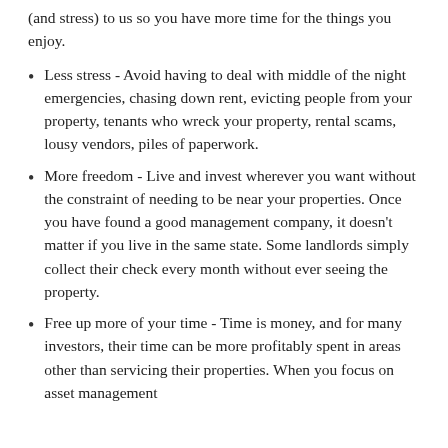(and stress) to us so you have more time for the things you enjoy.
Less stress - Avoid having to deal with middle of the night emergencies, chasing down rent, evicting people from your property, tenants who wreck your property, rental scams, lousy vendors, piles of paperwork.
More freedom - Live and invest wherever you want without the constraint of needing to be near your properties. Once you have found a good management company, it doesn’t matter if you live in the same state. Some landlords simply collect their check every month without ever seeing the property.
Free up more of your time - Time is money, and for many investors, their time can be more profitably spent in areas other than servicing their properties. When you focus on asset management